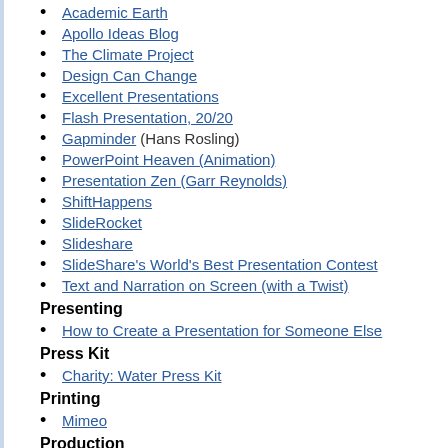Academic Earth
Apollo Ideas Blog
The Climate Project
Design Can Change
Excellent Presentations
Flash Presentation, 20/20
Gapminder (Hans Rosling)
PowerPoint Heaven (Animation)
Presentation Zen (Garr Reynolds)
ShiftHappens
SlideRocket
Slideshare
SlideShare's World's Best Presentation Contest
Text and Narration on Screen (with a Twist)
Presenting
How to Create a Presentation for Someone Else
Press Kit
Charity: Water Press Kit
Printing
Mimeo
Production
FiveCurrents
Productivity